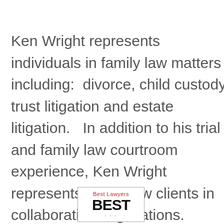Ken Wright represents individuals in family law matters including:  divorce, child custody, trust litigation and estate litigation.   In addition to his trial and family law courtroom experience, Ken Wright represents family law clients in collaborative negotiations.
[Figure (logo): Best Lawyers badge with 'Best Lawyers' in red serif text above large bold black 'BEST' text]